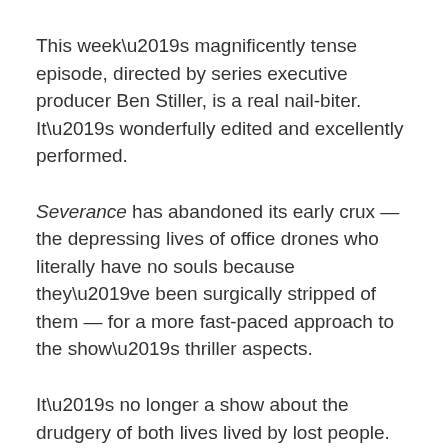This week’s magnificently tense episode, directed by series executive producer Ben Stiller, is a real nail-biter. It’s wonderfully edited and excellently performed.
Severance has abandoned its early crux — the depressing lives of office drones who literally have no souls because they’ve been surgically stripped of them — for a more fast-paced approach to the show’s thriller aspects.
It’s no longer a show about the drudgery of both lives lived by lost people. It’s about the race to get back some measure of its characters’ personhood.
CONTINUE READING »